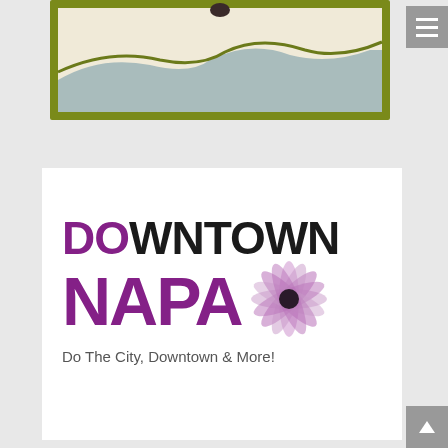[Figure (illustration): Top portion of a wine label or landscape illustration with olive/yellow-green border, cream background, and stylized rolling hills or waves in olive green and blue-gray tones]
[Figure (logo): Downtown Napa logo: 'DO' in purple and 'WNTOWN' in dark/black bold text on first line, 'NAPA' in large purple bold text with a purple flower/asterisk graphic, and tagline 'Do The City, Downtown & More!' in gray below]